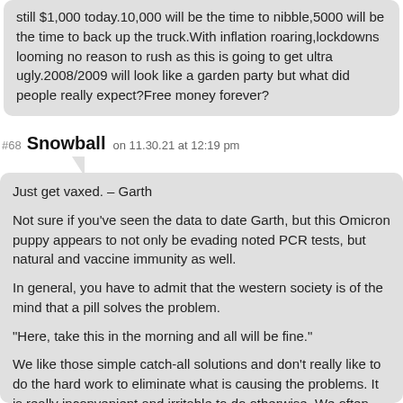still $1,000 today.10,000 will be the time to nibble,5000 will be the time to back up the truck.With inflation roaring,lockdowns looming no reason to rush as this is going to get ultra ugly.2008/2009 will look like a garden party but what did people really expect?Free money forever?
#68 Snowball on 11.30.21 at 12:19 pm
Just get vaxed. – Garth

Not sure if you've seen the data to date Garth, but this Omicron puppy appears to not only be evading noted PCR tests, but natural and vaccine immunity as well.

In general, you have to admit that the western society is of the mind that a pill solves the problem.

"Here, take this in the morning and all will be fine."

We like those simple catch-all solutions and don't really like to do the hard work to eliminate what is causing the problems. It is really inconvenient and irritable to do otherwise. We often probably don't like to admit that the pill is an enabler, and not a solution.